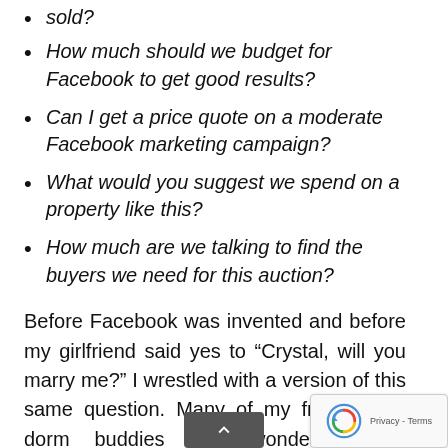sold?
How much should we budget for Facebook to get good results?
Can I get a price quote on a moderate Facebook marketing campaign?
What would you suggest we spend on a property like this?
How much are we talking to find the buyers we need for this auction?
Before Facebook was invented and before my girlfriend said yes to “Crystal, will you marry me?” I wrestled with a version of this same question. Many of my friends and dorm buddies also wondered what expenditure would be enough—for our engagement rings. We couldn’t have Googled the answer, even if Google were a thing back then. We couldn’t have asked social media, even if MySpace had been online yet. Social convention said we should’ve spent two months’ worth of salary on it, but we were broke college kids. (I hung my wet laundry to the top bunk to dry it just to save the change that the